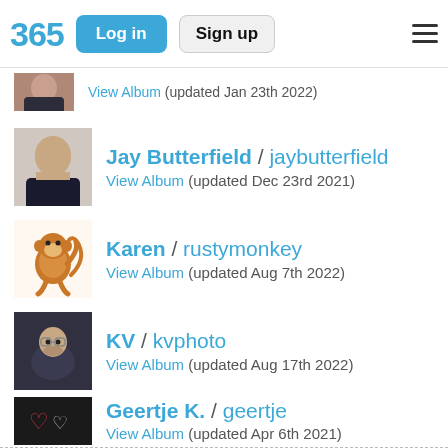365 | Log in | Sign up
View Album (updated Jan 23th 2022)
Jay Butterfield / jaybutterfield — View Album (updated Dec 23rd 2021)
Karen / rustymonkey — View Album (updated Aug 7th 2022)
KV / kvphoto — View Album (updated Aug 17th 2022)
Geertje K. / geertje — View Album (updated Apr 6th 2021)
Babs / onewing — View Album (updated Aug 21st 2022)
gloria jones / seattlite